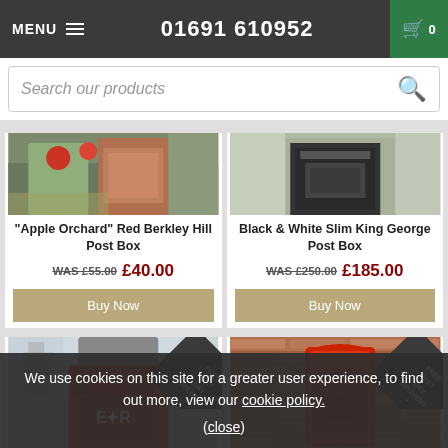MENU  01691 610952  0
Search our products
"Apple Orchard" Red Berkley Hill Post Box
WAS £55.00  £40.00
Black & White Slim King George Post Box
WAS £250.00  £185.00
[Figure (photo): Red post box mounted outdoors with apple orchard background]
[Figure (photo): Black and white slim King George post box]
[Figure (photo): Red ER Post Office pillar box outdoors with FREE NEXT DAY DELIVERY badge]
[Figure (photo): Red wall-mounted post box on brick wall with FREE NEXT DAY DELIVERY badge]
We use cookies on this site for a greater user experience, to find out more, view our cookie policy.
(close)